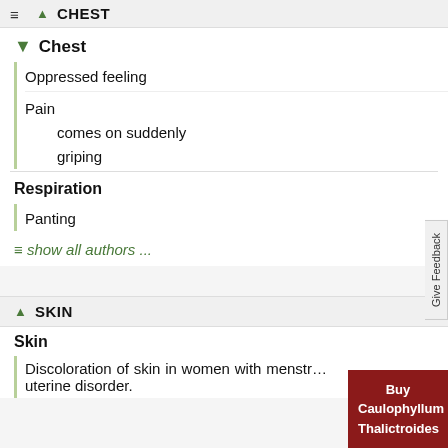CHEST
Chest
Oppressed feeling
Pain
comes on suddenly
griping
Respiration
Panting
≡ show all authors ...
SKIN
Skin
Discoloration of skin in women with menstr... uterine disorder.